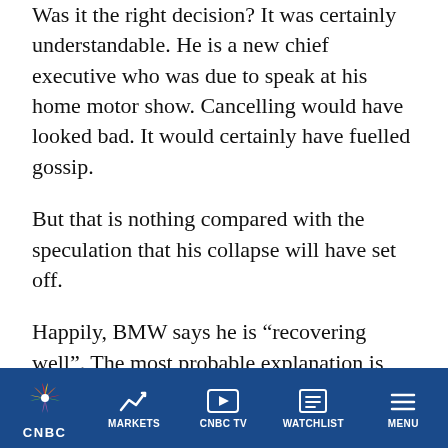Was it the right decision? It was certainly understandable. He is a new chief executive who was due to speak at his home motor show. Cancelling would have looked bad. It would certainly have fuelled gossip.
But that is nothing compared with the speculation that his collapse will have set off.
Happily, BMW says he is “recovering well”. The most probable explanation is that he picked up a bug on one of the international trips that are routine for chief executives.
Whether we shall ever find out precisely what
CNBC | MARKETS | CNBC TV | WATCHLIST | MENU